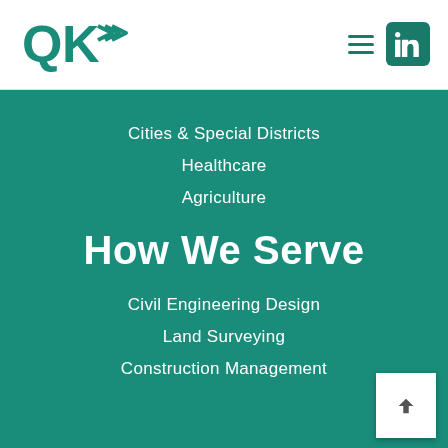[Figure (logo): QK company logo in teal green]
[Figure (other): Hamburger menu icon and LinkedIn icon in header]
Cities & Special Districts
Healthcare
Agriculture
How We Serve
Civil Engineering Design
Land Surveying
Construction Management